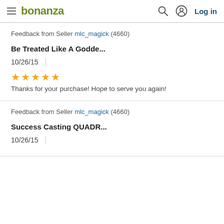bonanza  Log in
Feedback from Seller mlc_magick (4660)
Be Treated Like A Godde...
10/26/15
★★★★★
Thanks for your purchase! Hope to serve you again!
Feedback from Seller mlc_magick (4660)
Success Casting QUADR...
10/26/15